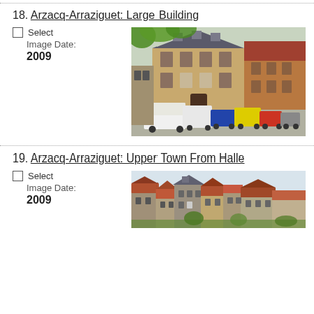18. Arzacq-Arraziguet: Large Building
Select
Image Date:
2009
[Figure (photo): Street view of a large stone building in Arzacq-Arraziguet, France, with multiple parked vans and cars in front, green tree foliage visible at top.]
19. Arzacq-Arraziguet: Upper Town From Halle
Select
Image Date:
2009
[Figure (photo): Partial view of the upper town of Arzacq-Arraziguet showing rooftops of various buildings with sky in background.]